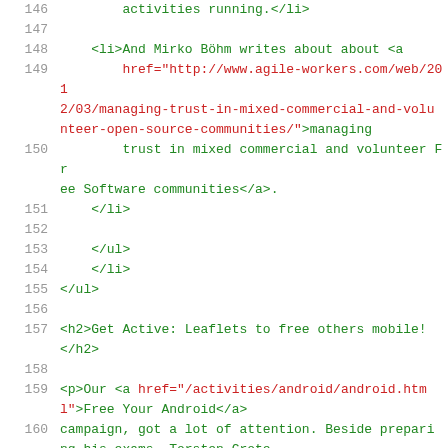146     activities running.</li>
147
148     <li>And Mirko Böhm writes about about <a
149         href="http://www.agile-workers.com/web/2012/03/managing-trust-in-mixed-commercial-and-volunteer-open-source-communities/">managing
150             trust in mixed commercial and volunteer Free Software communities</a>.
151         </li>
152
153     </ul>
154     </li>
155 </ul>
156
157 <h2>Get Active: Leaflets to free others mobile!</h2>
158
159 <p>Our <a href="/activities/android/android.html">Free Your Android</a>
160 campaign, got a lot of attention. Beside preparing his exams, Torsten Grote
161 gave interviews for the German newspaper <a
162     href="https://www.taz.de/Kampagne-fuer-offene